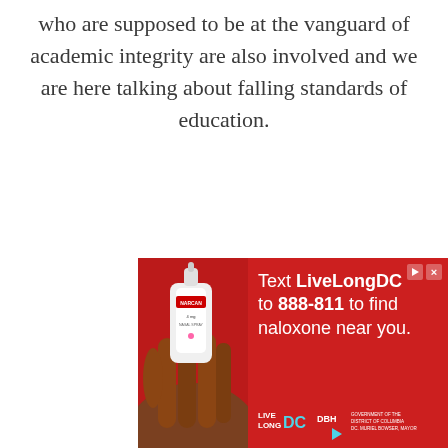who are supposed to be at the vanguard of academic integrity are also involved and we are here talking about falling standards of education.
[Figure (infographic): Advertisement banner with red background. Left side shows a hand holding a Narcan nasal spray device. Right side shows text: 'Text LiveLongDC to 888-811 to find naloxone near you.' Bottom includes LiveLong DC logo, DBH arrow logo, and DC Government/Mayor Muriel Bowser branding.]